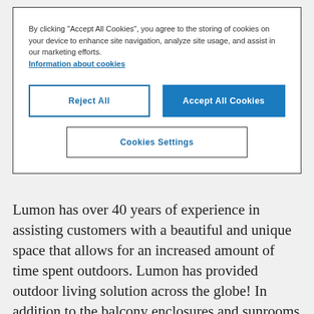By clicking "Accept All Cookies", you agree to the storing of cookies on your device to enhance site navigation, analyze site usage, and assist in our marketing efforts. Information about cookies
[Figure (screenshot): Cookie consent dialog with Reject All, Accept All Cookies, and Cookies Settings buttons]
Lumon has over 40 years of experience in assisting customers with a beautiful and unique space that allows for an increased amount of time spent outdoors. Lumon has provided outdoor living solution across the globe! In addition to the balcony enclosures and sunrooms that we have installed in Hamilton, we have also installed in